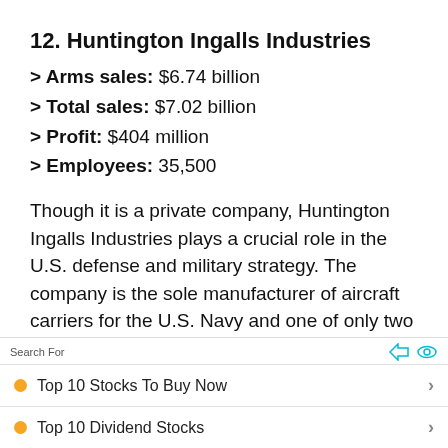12. Huntington Ingalls Industries
> Arms sales: $6.74 billion
> Total sales: $7.02 billion
> Profit: $404 million
> Employees: 35,500
Though it is a private company, Huntington Ingalls Industries plays a crucial role in the U.S. defense and military strategy. The company is the sole manufacturer of aircraft carriers for the U.S. Navy and one of only two
Search For
Top 10 Stocks To Buy Now
Top 10 Dividend Stocks